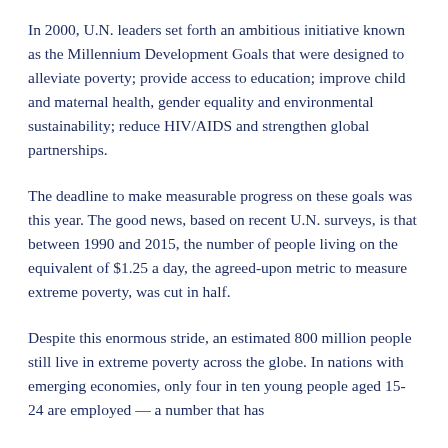In 2000, U.N. leaders set forth an ambitious initiative known as the Millennium Development Goals that were designed to alleviate poverty; provide access to education; improve child and maternal health, gender equality and environmental sustainability; reduce HIV/AIDS and strengthen global partnerships.
The deadline to make measurable progress on these goals was this year. The good news, based on recent U.N. surveys, is that between 1990 and 2015, the number of people living on the equivalent of $1.25 a day, the agreed-upon metric to measure extreme poverty, was cut in half.
Despite this enormous stride, an estimated 800 million people still live in extreme poverty across the globe. In nations with emerging economies, only four in ten young people aged 15-24 are employed — a number that has